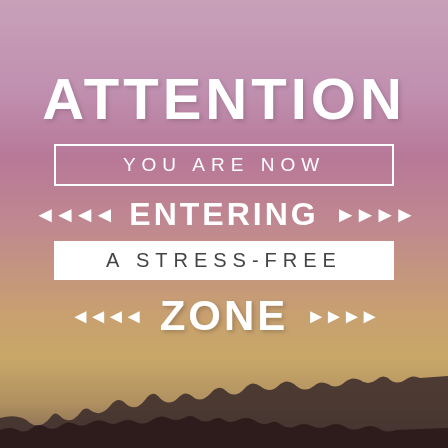[Figure (illustration): Motivational sign graphic with gradient pink-purple sky background and dark silhouette landscape at bottom. Text reads: ATTENTION / YOU ARE NOW / ENTERING / A STRESS-FREE / ZONE with decorative arrow elements.]